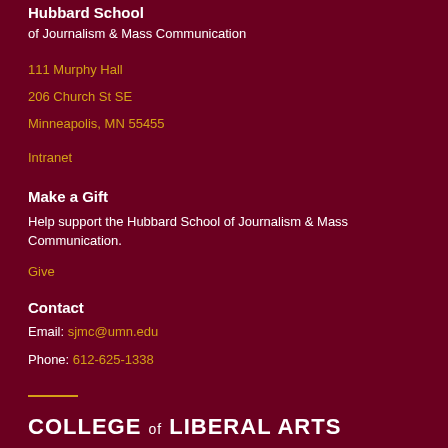Hubbard School
of Journalism & Mass Communication
111 Murphy Hall
206 Church St SE
Minneapolis, MN 55455
Intranet
Make a Gift
Help support the Hubbard School of Journalism & Mass Communication.
Give
Contact
Email: sjmc@umn.edu
Phone: 612-625-1338
COLLEGE of LIBERAL ARTS